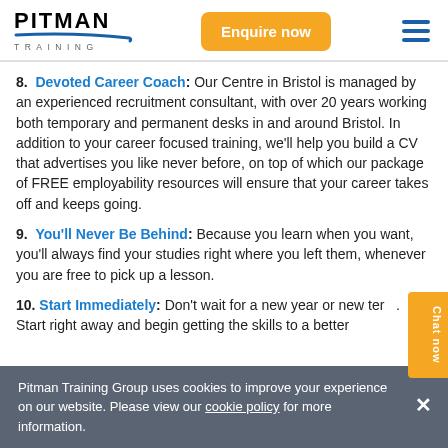PITMAN TRAINING — Enquire now
8. Devoted Career Coach: Our Centre in Bristol is managed by an experienced recruitment consultant, with over 20 years working both temporary and permanent desks in and around Bristol. In addition to your career focused training, we'll help you build a CV that advertises you like never before, on top of which our package of FREE employability resources will ensure that your career takes off and keeps going.
9. You'll Never Be Behind: Because you learn when you want, you'll always find your studies right where you left them, whenever you are free to pick up a lesson.
10. Start Immediately: Don't wait for a new year or new term. Start right away and begin getting the skills to a better
Pitman Training Group uses cookies to improve your experience on our website. Please view our cookie policy for more information.